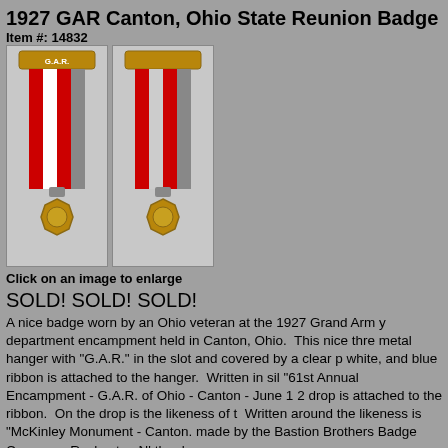1927 GAR Canton, Ohio State Reunion Badge
Item #: 14832
[Figure (photo): Two photographs of a GAR Civil War reunion badge with ribbon and medal drop]
Click on an image to enlarge
SOLD! SOLD! SOLD!
A nice badge worn by an Ohio veteran at the 1927 Grand Army department encampment held in Canton, Ohio. This nice three metal hanger with "G.A.R." in the slot and covered by a clear p white, and blue ribbon is attached to the hanger. Written in sil "61st Annual Encampment - G.A.R. of Ohio - Canton - June 12 drop is attached to the ribbon. On the drop is the likeness of t Written around the likeness is "McKinley Monument - Canton. made by the Bastion Brothers Badge Company, Rochester, N' the drop.
Print Item  Email to a friend
Cash, Check, Money Order, and PayPal
[Figure (logo): PayPal logo]